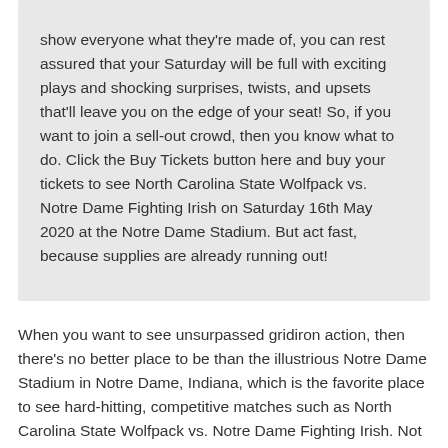show everyone what they're made of, you can rest assured that your Saturday will be full with exciting plays and shocking surprises, twists, and upsets that'll leave you on the edge of your seat! So, if you want to join a sell-out crowd, then you know what to do. Click the Buy Tickets button here and buy your tickets to see North Carolina State Wolfpack vs. Notre Dame Fighting Irish on Saturday 16th May 2020 at the Notre Dame Stadium. But act fast, because supplies are already running out!
When you want to see unsurpassed gridiron action, then there's no better place to be than the illustrious Notre Dame Stadium in Notre Dame, Indiana, which is the favorite place to see hard-hitting, competitive matches such as North Carolina State Wolfpack vs. Notre Dame Fighting Irish. Not only does the hometown favorite always puts on an unsurpassed performance every time they reach the field, but the venue itself provides all the features and perks that sports fanatics expect and deserve. From the second you pass the ticket stands you'll be blown away by the huge variety of vendors...